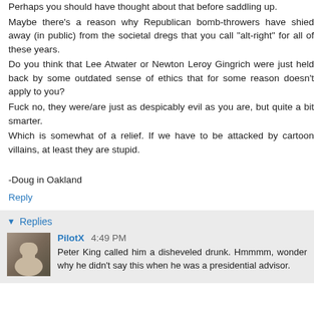Perhaps you should have thought about that before saddling up.
Maybe there's a reason why Republican bomb-throwers have shied away (in public) from the societal dregs that you call "alt-right" for all of these years.
Do you think that Lee Atwater or Newton Leroy Gingrich were just held back by some outdated sense of ethics that for some reason doesn't apply to you?
Fuck no, they were/are just as despicably evil as you are, but quite a bit smarter.
Which is somewhat of a relief. If we have to be attacked by cartoon villains, at least they are stupid.

-Doug in Oakland
Reply
Replies
PilotX  4:49 PM
Peter King called him a disheveled drunk. Hmmmm, wonder why he didn't say this when he was a presidential advisor.